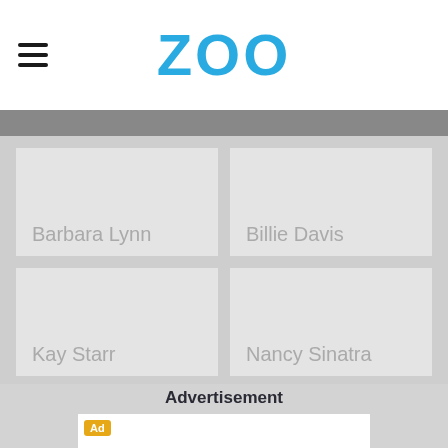ZOO
Barbara Lynn
Billie Davis
Kay Starr
Nancy Sinatra
Advertisement
[Figure (other): Advertisement placeholder box with Ad badge]